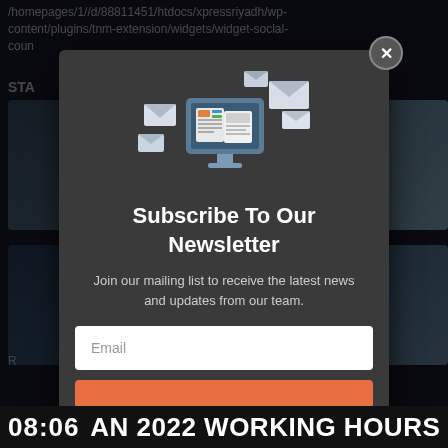/homepages/1//d/88811451/htdocs/xpressriyadh/wp-content/plugins/tnm-extension/widgets/widget-social-count... STA
[Figure (screenshot): Newsletter subscription modal popup with computer/email illustration, title 'Subscribe To Our Newsletter', body text, email input field, and subscribe button on a dark background overlay]
Subscribe To Our Newsletter
Join our mailing list to receive the latest news and updates from our team.
08:06 AN 2022 WORKING HOURS